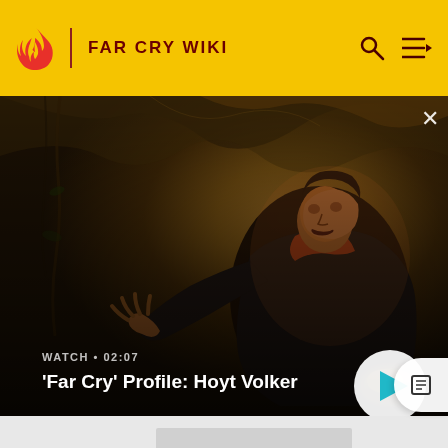FAR CRY WIKI
[Figure (screenshot): Video thumbnail showing a Far Cry game character (man in dark jacket, dark hair) in a cave or jungle environment with fire/golden lighting. The video is titled 'Far Cry' Profile: Hoyt Volker with duration 02:07.]
WATCH • 02:07
'Far Cry' Profile: Hoyt Volker
[Figure (other): Gray placeholder content area below the video panel]